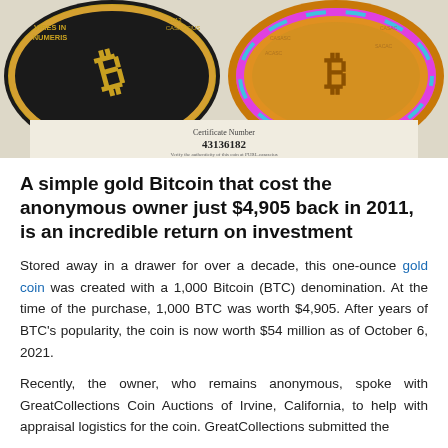[Figure (photo): Two gold Bitcoin (Casascius) coins side by side. Left coin: black and gold design with 'VIRES IN NUMERIS' and '1000 BITCOINS' text. Right coin: colorful Casascius coin with rainbow ring. Below them is a certificate area showing 'Certificate Number 43136182'.]
A simple gold Bitcoin that cost the anonymous owner just $4,905 back in 2011, is an incredible return on investment
Stored away in a drawer for over a decade, this one-ounce gold coin was created with a 1,000 Bitcoin (BTC) denomination. At the time of the purchase, 1,000 BTC was worth $4,905. After years of BTC's popularity, the coin is now worth $54 million as of October 6, 2021.
Recently, the owner, who remains anonymous, spoke with GreatCollections Coin Auctions of Irvine, California, to help with appraisal logistics for the coin. GreatCollections submitted the